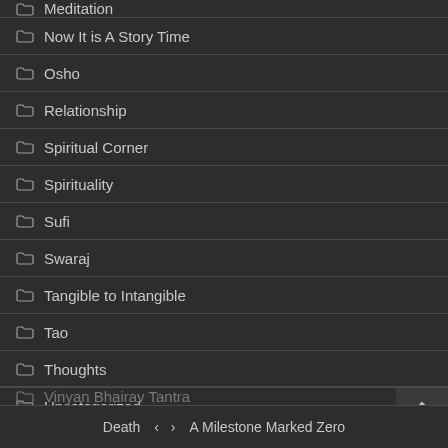Meditation
Now It is A Story Time
Osho
Relationship
Spiritual Corner
Spirituality
Sufi
Swaraj
Tangible to Intangible
Tao
Thoughts
Uncategorized
Vedanta
Vinyan Bhairav Tantra
Death ‹ › A Milestone Marked Zero